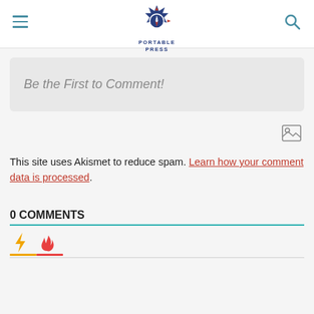Portable Press logo, hamburger menu, search icon
Be the First to Comment!
This site uses Akismet to reduce spam. Learn how your comment data is processed.
0 COMMENTS